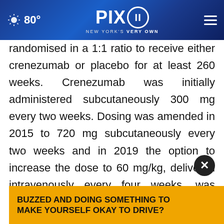PIX11 NEW YORK'S VERY OWN — 80°
randomised in a 1:1 ratio to receive either crenezumab or placebo for at least 260 weeks. Crenezumab was initially administered subcutaneously 300 mg every two weeks. Dosing was amended in 2015 to 720 mg subcutaneously every two weeks and in 2019 the option to increase the dose to 60 mg/kg, delivered intravenously every four weeks, was offered to participants. A cohort of participants (non-mutation carriers) were also enrolled and dosed solely
BUZZED AND DOING SOMETHING TO MAKE YOURSELF OKAY TO DRIVE?